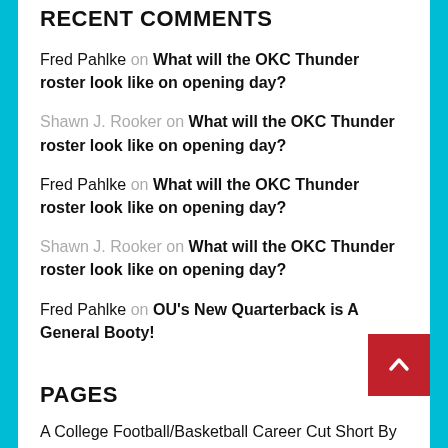RECENT COMMENTS
Fred Pahlke on What will the OKC Thunder roster look like on opening day?
Shawn J. Rooker on What will the OKC Thunder roster look like on opening day?
Fred Pahlke on What will the OKC Thunder roster look like on opening day?
Shawn J. Rooker on What will the OKC Thunder roster look like on opening day?
Fred Pahlke on OU's New Quarterback is A General Booty!
PAGES
A College Football/Basketball Career Cut Short By